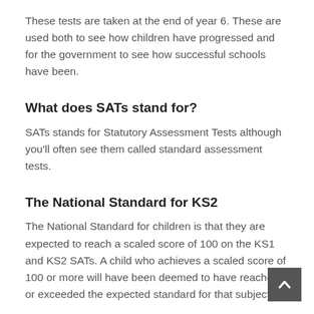These tests are taken at the end of year 6. These are used both to see how children have progressed and for the government to see how successful schools have been.
What does SATs stand for?
SATs stands for Statutory Assessment Tests although you'll often see them called standard assessment tests.
The National Standard for KS2
The National Standard for children is that they are expected to reach a scaled score of 100 on the KS1 and KS2 SATs. A child who achieves a scaled score of 100 or more will have been deemed to have reached or exceeded the expected standard for that subject.